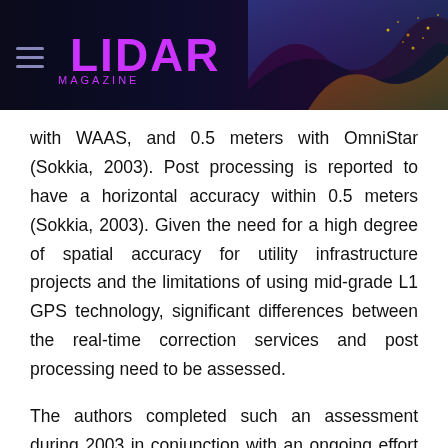LIDAR MAGAZINE
with WAAS, and 0.5 meters with OmniStar (Sokkia, 2003). Post processing is reported to have a horizontal accuracy within 0.5 meters (Sokkia, 2003). Given the need for a high degree of spatial accuracy for utility infrastructure projects and the limitations of using mid-grade L1 GPS technology, significant differences between the real-time correction services and post processing need to be assessed.
The authors completed such an assessment during 2003 in conjunction with an ongoing effort to map the utility infrastructure on a Native American Reservation in Southern Arizona. The